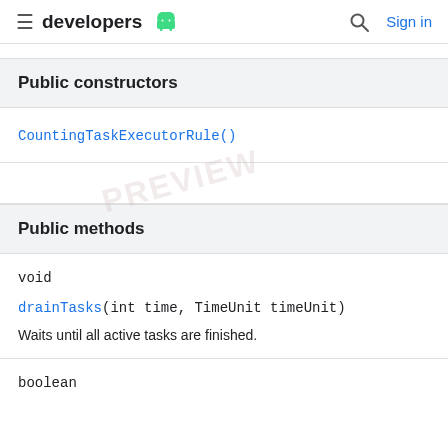developers | Sign in
Public constructors
CountingTaskExecutorRule()
Public methods
void
drainTasks(int time, TimeUnit timeUnit)
Waits until all active tasks are finished.
boolean